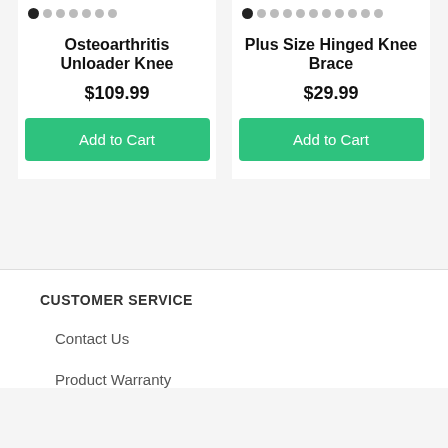Osteoarthritis Unloader Knee
$109.99
Add to Cart
Plus Size Hinged Knee Brace
$29.99
Add to Cart
CUSTOMER SERVICE
Contact Us
Product Warranty